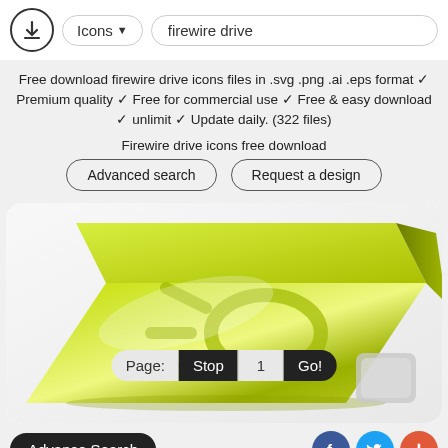Icons ▼  firewire drive
Free download firewire drive icons files in .svg .png .ai .eps format ✓ Premium quality ✓ Free for commercial use ✓ Free & easy download ✓ unlimit ✓ Update daily. (322 files)
Firewire drive icons free download
Advanced search   Request a design
[Figure (illustration): Green firewire external hard drive icon rendered in 3D perspective with FireWire symbol embossed on top surface]
Page: Stop 1 Go!
Advance Search